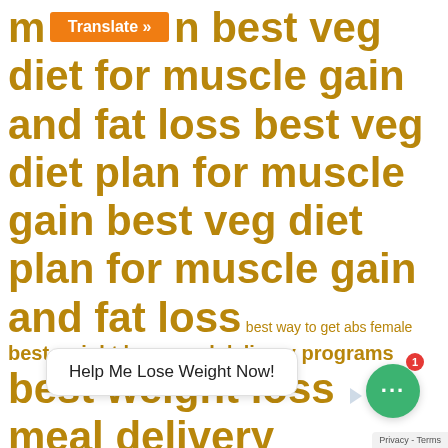[Figure (screenshot): Website tag cloud with diet and weight loss related keywords in gold/olive color, varying font sizes. Includes a Translate button overlay, a chat widget bubble saying 'Help Me Lose Weight Now!', a green chat icon with notification badge, and a Privacy/Terms footer.]
m... best veg diet for muscle gain and fat loss best veg diet plan for muscle gain best veg diet plan for muscle gain and fat loss best way to get abs female best weight loss meal delivery programs best weight loss meal delivery programs 2020 best weight loss meal delivery programs 2021 bodybuilder food
Translate »
Help Me Lose Weight Now!
Privacy - Terms